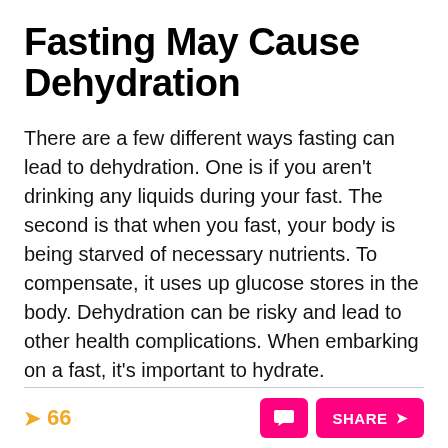Fasting May Cause Dehydration
There are a few different ways fasting can lead to dehydration. One is if you aren't drinking any liquids during your fast. The second is that when you fast, your body is being starved of necessary nutrients. To compensate, it uses up glucose stores in the body. Dehydration can be risky and lead to other health complications. When embarking on a fast, it's important to hydrate.
66  SHARE